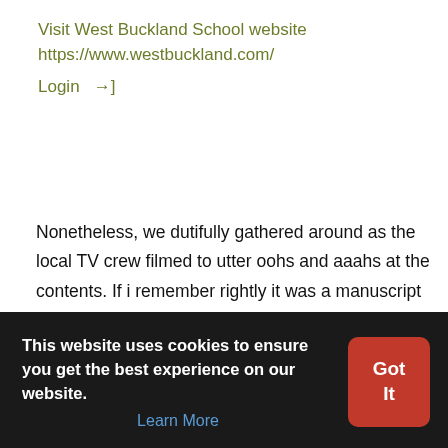Visit West Buckland School website
https://www.westbuckland.com/
Login →]
Nonetheless, we dutifully gathered around as the local TV crew filmed to utter oohs and aaahs at the contents. If i remember rightly it was a manuscript of one of his early mild erotic works, as fresh as if it had been drawn from the temperature controlled archives of the Bodleian that day.
Matron, Jen Humes, at the time made a recording of the local news where yours truly was interviewed. Whether it still exists or not I do not know but it drew much hilarity at the time over drinks particularly with all talking heads business that it did.
Oh and our reward? About a week or two later Michael Downward
This website uses cookies to ensure you get the best experience on our website. Learn More Got It